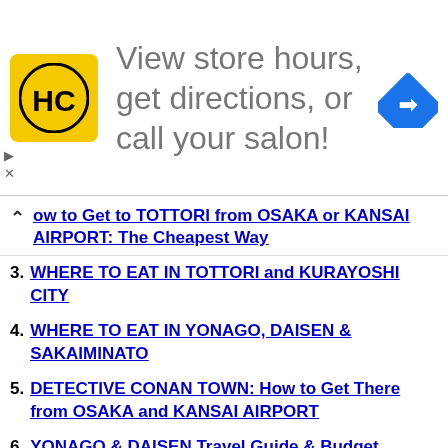[Figure (advertisement): Ad banner: HairClub logo (HC in yellow square), text 'View store hours, get directions, or call your salon!', blue diamond navigation icon]
ow to Get to TOTTORI from OSAKA or KANSAI AIRPORT: The Cheapest Way
3. WHERE TO EAT IN TOTTORI and KURAYOSHI CITY
4. WHERE TO EAT IN YONAGO, DAISEN & SAKAIMINATO
5. DETECTIVE CONAN TOWN: How to Get There from OSAKA and KANSAI AIRPORT
6. YONAGO & DAISEN Travel Guide & Budget Itinerary
7. OSAKA TO TOKYO or TOKYO TO OSAKA: The Cheapest Way